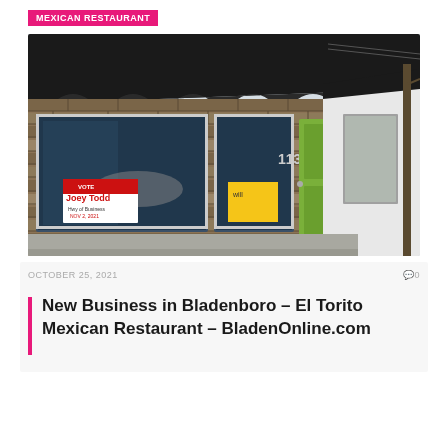MEXICAN RESTAURANT
[Figure (photo): Exterior photo of a commercial building with stone facade, black awning, green door, and campaign signs in the windows. The storefront appears to be in Bladenboro, NC, the future location of El Torito Mexican Restaurant.]
OCTOBER 25, 2021
0
New Business in Bladenboro – El Torito Mexican Restaurant – BladenOnline.com